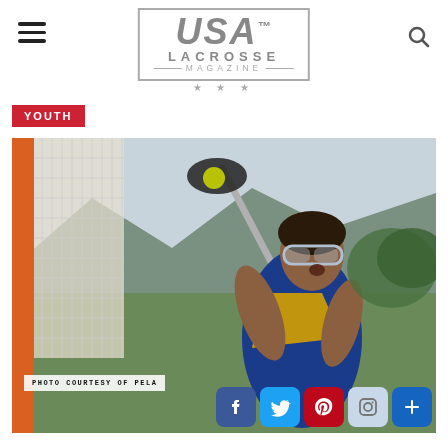USA Lacrosse Magazine
YOUTH
[Figure (photo): Young female lacrosse player in blue and yellow uniform holding a lacrosse stick with ball, wearing protective goggles, in front of an orange goal net. Action photo taken outdoors with mountains in background.]
PHOTO COURTESY OF PELA